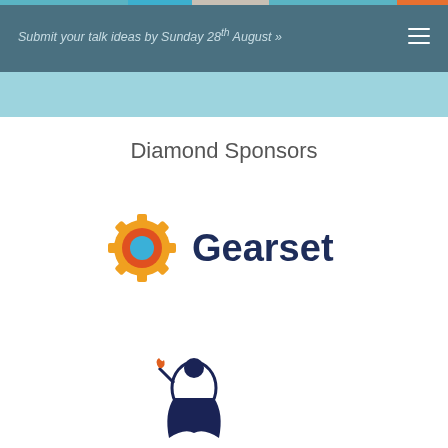Submit your talk ideas by Sunday 28th August »
Diamond Sponsors
[Figure (logo): Gearset logo: gear icon with orange and red cogs and a blue center circle, followed by bold dark navy text 'Gearset']
[Figure (logo): Partially visible logo at bottom of page with a figure holding a torch, dark navy illustration style]